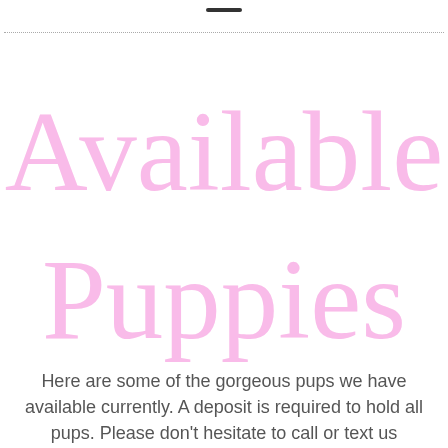Available Puppies
Here are some of the gorgeous pups we have available currently. A deposit is required to hold all pups. Please don't hesitate to call or text us anytime